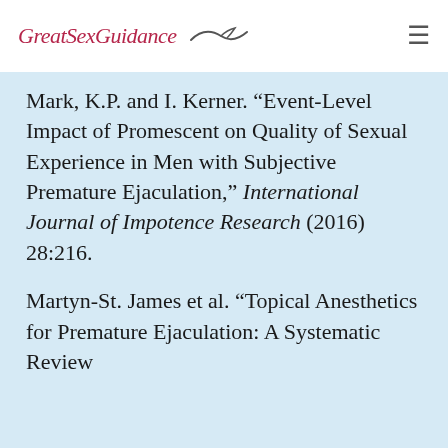GreatSexGuidance
Mark, K.P. and I. Kerner. "Event-Level Impact of Promescent on Quality of Sexual Experience in Men with Subjective Premature Ejaculation," International Journal of Impotence Research (2016) 28:216.
Martyn-St. James et al. “Topical Anesthetics for Premature Ejaculation: A Systematic Review